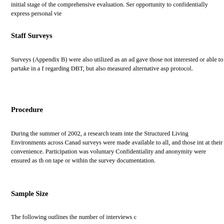initial stage of the comprehensive evaluation. Ser opportunity to confidentially express personal vie
Staff Surveys
Surveys (Appendix B) were also utilized as an ad gave those not interested or able to partake in a f regarding DBT, but also measured alternative asp protocol.
Procedure
During the summer of 2002, a research team inte the Structured Living Environments across Canad surveys were made available to all, and those int at their convenience. Participation was voluntary Confidentiality and anonymity were ensured as th on tape or within the survey documentation.
Sample Size
The following outlines the number of interviews c